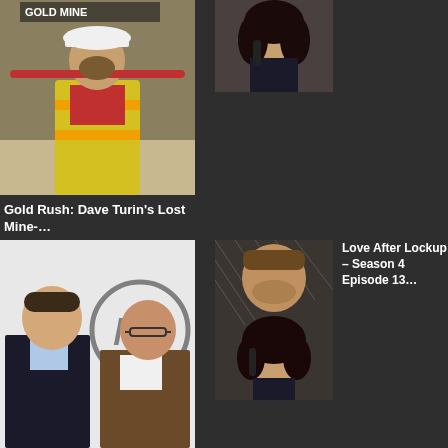[Figure (photo): Man in yellow safety vest holding a tool over shoulder, wearing hard hat — promotional image for Gold Rush: Dave Turin's Lost Mine]
Gold Rush: Dave Turin's Lost Mine-…
[Figure (photo): Young woman with dark curly hair holding a phone receiver — promotional image for Love After Lockup]
[Figure (photo): Two men in suits standing in front of a MasterChef logo — promotional image for MasterChef]
[Figure (photo): Man looking through glass with woman behind him holding a phone — promotional image for Love After Lockup Season 4 Episode 13]
Love After Lockup – Season 4 Episode 13…